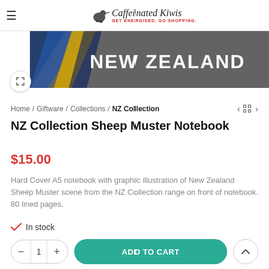Caffeinated Kiwis — GET ENERGISED. GO SHOPPING.
[Figure (photo): Partial product image showing a New Zealand themed banner with text 'NEW ZEALAND' on dark background with blue and yellow diagonal stripes]
Home / Giftware / Collections / NZ Collection
NZ Collection Sheep Muster Notebook
$15.00
Hard Cover A5 notebook with graphic illustration of New Zealand Sheep Muster scene from the NZ Collection range on front of notebook. 80 lined pages.
✓ In stock
- 1 + ADD TO CART